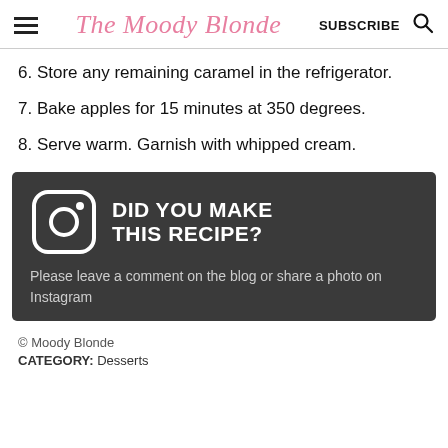The Moody Blonde  SUBSCRIBE
6. Store any remaining caramel in the refrigerator.
7. Bake apples for 15 minutes at 350 degrees.
8. Serve warm. Garnish with whipped cream.
[Figure (infographic): Dark grey banner with Instagram icon and text 'DID YOU MAKE THIS RECIPE? Please leave a comment on the blog or share a photo on Instagram']
© Moody Blonde
CATEGORY: Desserts